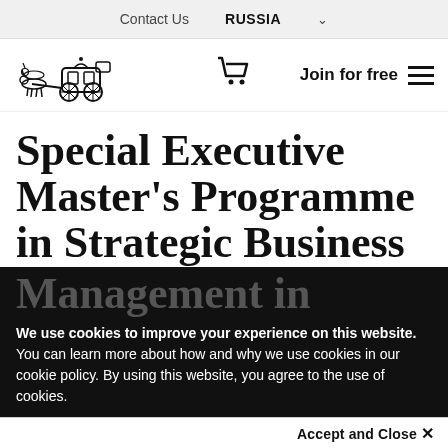Contact Us   RUSSIA
[Figure (logo): Horse-drawn carriage logo (historical illustration in dark ink)]
Special Executive Master's Programme in Strategic Business Management in
We use cookies to improve your experience on this website. You can learn more about how and why we use cookies in our cookie policy. By using this website, you agree to the use of cookies.
Accept and Close ×
Your browser settings do not allow cross-site tracking for advertising. Click on this page to allow AdRoll to use cross-site tracking to tailor ads to you. Learn more or opt out of this AdRoll tracking by clicking here. This message only appears once.